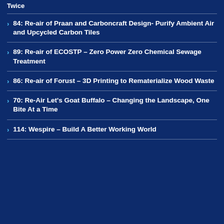Twice
84: Re-air of Praan and Carboncraft Design- Purify Ambient Air and Upcycled Carbon Tiles
89: Re-air of ECOSTP – Zero Power Zero Chemical Sewage Treatment
86: Re-air of Forust – 3D Printing to Rematerialize Wood Waste
70: Re-Air Let's Goat Buffalo – Changing the Landscape, One Bite At a Time
114: Wespire – Build A Better Working World